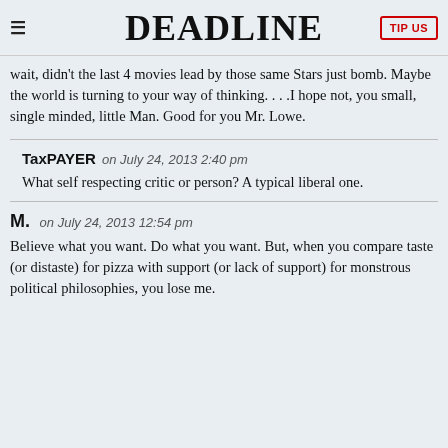DEADLINE
wait, didn't the last 4 movies lead by those same Stars just bomb. Maybe the world is turning to your way of thinking. . . .I hope not, you small, single minded, little Man. Good for you Mr. Lowe.
TaxPAYER on July 24, 2013 2:40 pm
What self respecting critic or person? A typical liberal one.
M. on July 24, 2013 12:54 pm
Believe what you want. Do what you want. But, when you compare taste (or distaste) for pizza with support (or lack of support) for monstrous political philosophies, you lose me.